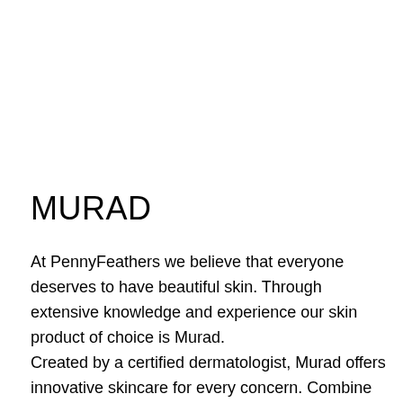MURAD
At PennyFeathers we believe that everyone deserves to have beautiful skin. Through extensive knowledge and experience our skin product of choice is Murad.
Created by a certified dermatologist, Murad offers innovative skincare for every concern. Combine cleansers and toners with treatments and hydrators for